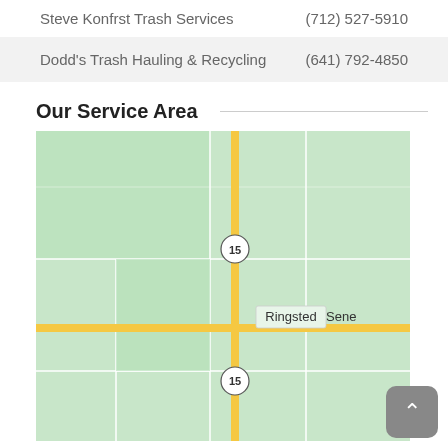Steve Konfrst Trash Services    (712) 527-5910
Dodd's Trash Hauling & Recycling    (641) 792-4850
Our Service Area
[Figure (map): Street map showing the Ringsted and Seneca area in Iowa, with route 15 marked, on a light green background with yellow road lines and white boundary lines.]